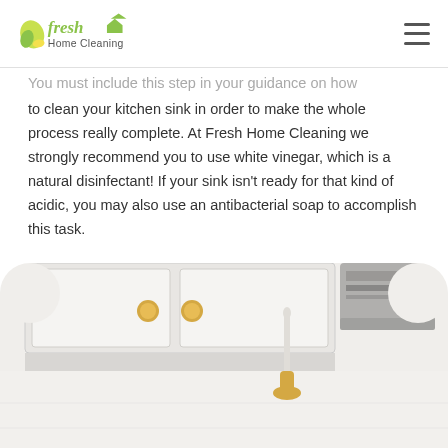Fresh Home Cleaning
You must include this step in your guidance on how to clean your kitchen sink in order to make the whole process really complete. At Fresh Home Cleaning we strongly recommend you to use white vinegar, which is a natural disinfectant! If your sink isn't ready for that kind of acidic, you may also use an antibacterial soap to accomplish this task.
[Figure (photo): Kitchen interior showing white cabinets with gold knobs, a faucet, and a range hood on the right side.]